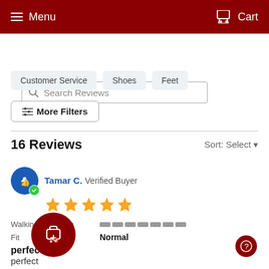Menu  Cart
Search Reviews
Customer Service
Shoes
Feet
More Filters
16 Reviews  Sort: Select
Tamar C. Verified Buyer — 5 stars
Walking sensation
Fit  Normal
perfect
perfect